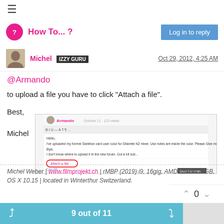≡ How To... ? | Log in to reply
Michel IZZY GURU  Oct 29, 2012, 4:25 AM
@Armando
to upload a file you have to click "Attach a file".
Best,
Michel
[Figure (screenshot): Screenshot of a forum post editor showing an 'Attach a file' button circled in red and a 'Save Comment' button]
Michel Weber | www.filmprojekt.ch | rMBP (2019) i9, 16gig, AMD 5500M 8 GB, OS X 10.15 | located in Winterthur Switzerland.
9 out of 11